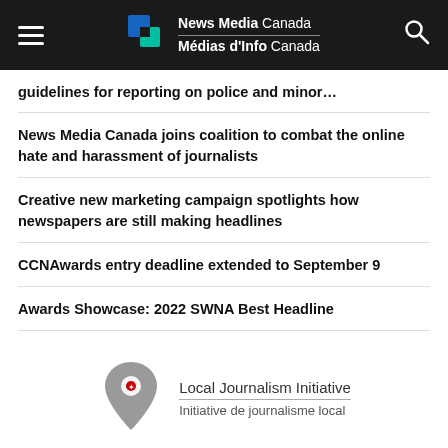News Media Canada / Médias d'Info Canada
guidelines for reporting on police and minor…
News Media Canada joins coalition to combat the online hate and harassment of journalists
Creative new marketing campaign spotlights how newspapers are still making headlines
CCNAwards entry deadline extended to September 9
Awards Showcase: 2022 SWNA Best Headline
[Figure (logo): Local Journalism Initiative / Initiative de journalisme local logo with map pin icon]